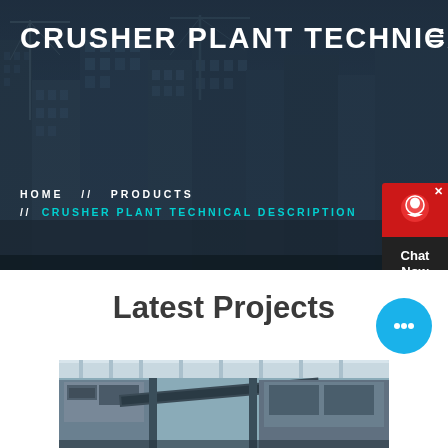[Figure (photo): Hero banner with dark overlay showing city buildings and construction cranes in the background]
CRUSHER PLANT TECHNICAL DESCRIPTION
HOME // PRODUCTS // CRUSHER PLANT TECHNICAL DESCRIPTION
[Figure (other): Red chat widget with customer service icon and Chat Now label]
Latest Projects
[Figure (other): Blue circular chat bubble button with ellipsis icon]
[Figure (photo): Crusher plant machinery photo showing industrial equipment]